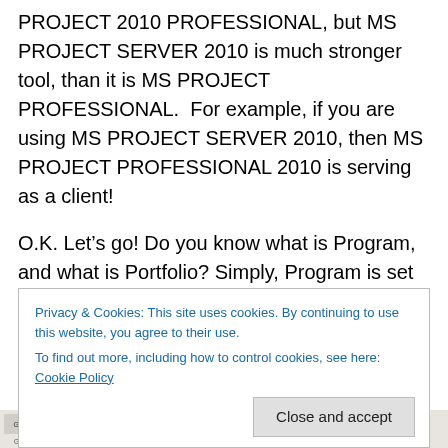PROJECT 2010 PROFESSIONAL, but MS PROJECT SERVER 2010 is much stronger tool, than it is MS PROJECT PROFESSIONAL.  For example, if you are using MS PROJECT SERVER 2010, then MS PROJECT PROFESSIONAL 2010 is serving as a client!
O.K. Let's go! Do you know what is Program, and what is Portfolio? Simply, Program is set of Related Projects, and Portfolio is set of unrelated Project or Programs!
If you have a Master-Slave situation with your Projects,
Privacy & Cookies: This site uses cookies. By continuing to use this website, you agree to their use.
To find out more, including how to control cookies, see here: Cookie Policy
[Figure (screenshot): Microsoft Project 2010 toolbar/ribbon strip showing Gantt, Paste, Bold, Italic, and other toolbar icons at the bottom of the page]